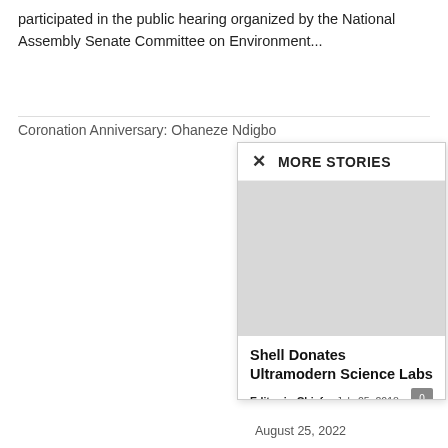participated in the public hearing organized by the National Assembly Senate Committee on Environment...
Coronation Anniversary: Ohaneze Ndigbo
MORE STORIES
[Figure (photo): Placeholder image area for article photo]
Shell Donates Ultramodern Science Labs
Editor-in-Chief - July 25, 2018
August 25, 2022